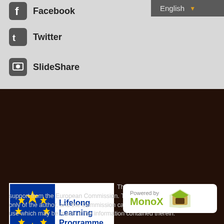[Figure (screenshot): Language selector dropdown showing 'English' with arrow, dark grey background]
Facebook
Twitter
SlideShare
[Figure (logo): EU Lifelong Learning Programme logo — blue EU flag with yellow stars, text 'Lifelong Learning Programme' in blue]
This project has been funded with support from the European Commission. This publication reflects the views only of the author, and the Commission cannot be held responsible for any use which may be made of the information contained therein.
Developed by:
Zoomicon & CTI
[Figure (logo): Powered by MonoX badge — white rounded rectangle with green MonoX text and box logo]